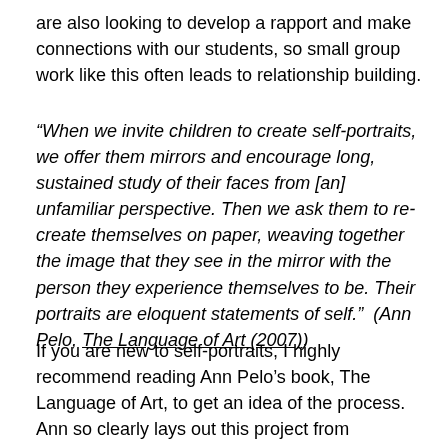are also looking to develop a rapport and make connections with our students, so small group work like this often leads to relationship building.
“When we invite children to create self-portraits, we offer them mirrors and encourage long, sustained study of their faces from [an] unfamiliar perspective. Then we ask them to re-create themselves on paper, weaving together the image that they see in the mirror with the person they experience themselves to be. Their portraits are eloquent statements of self.”  (Ann Pelo, The Language of Art (2007))
If you are new to self-portraits, I highly recommend reading Ann Pelo’s book, The Language of Art, to get an idea of the process. Ann so clearly lays out this project from beginning to end, including how to set up the studio,